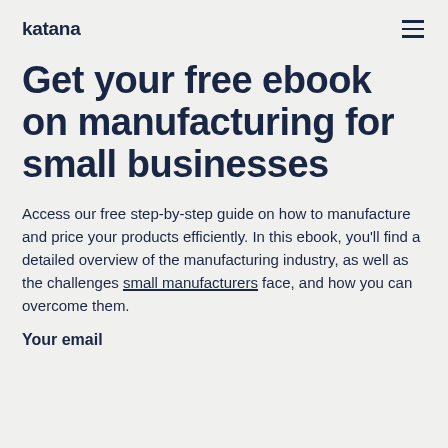katana
Get your free ebook on manufacturing for small businesses
Access our free step-by-step guide on how to manufacture and price your products efficiently. In this ebook, you'll find a detailed overview of the manufacturing industry, as well as the challenges small manufacturers face, and how you can overcome them.
Your email